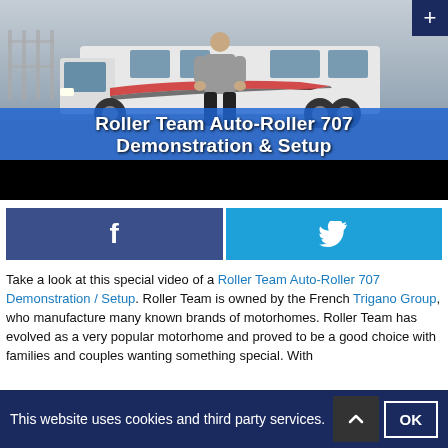[Figure (screenshot): Video thumbnail showing a motorhome (Roller Team Auto-Roller 707) with a man standing in front of it, overlaid with a blue banner reading 'Roller Team Auto-Roller 707 Demonstration & Setup', followed by a black bar at the bottom.]
[Figure (infographic): Social share buttons: a dark blue Facebook button with 'f' icon and a cyan Twitter button with bird icon.]
Take a look at this special video of a Roller Team Auto-Roller 707 Demonstration / Setup. Roller Team is owned by the French Trigano Group, who manufacture many known brands of motorhomes. Roller Team has evolved as a very popular motorhome and proved to be a good choice with families and couples wanting something special. With
This website uses cookies and third party services.